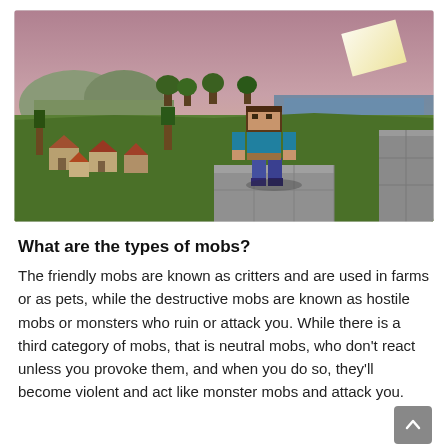[Figure (screenshot): Minecraft screenshot showing Steve character standing on stone blocks overlooking a landscape with village, trees, hills, ocean in background, and a bright sun in the upper right corner at sunset/dusk.]
What are the types of mobs?
The friendly mobs are known as critters and are used in farms or as pets, while the destructive mobs are known as hostile mobs or monsters who ruin or attack you. While there is a third category of mobs, that is neutral mobs, who don't react unless you provoke them, and when you do so, they'll become violent and act like monster mobs and attack you.